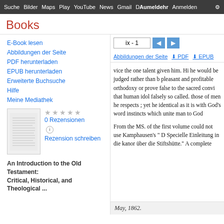Suche  Bilder  Maps  Play  YouTube  News  Gmail  DAuameldehr  Anmelden
Books
E-Book lesen
Abbildungen der Seite
PDF herunterladen
EPUB herunterladen
Erweiterte Buchsuche
Hilfe
Meine Mediathek
[Figure (other): Book thumbnail showing a text-heavy document page]
★★★★★ 0 Rezensionen (i) Rezension schreiben
An Introduction to the Old Testament: Critical, Historical, and Theological ...
ix - 1
Abbildungen der Seite  ⬇ PDF  ⬇ EPUB
vice the one talent given him. Hi he would be judged rather than b pleasant and profitable orthodoxy or prove false to the sacred convi that human idol falsely so called. those of men he respects ; yet he identical as it is with God's word instincts which unite man to God
From the MS. of the first volume could not use Kamphausen's " D Specielle Einleitung in die kanor über die Stiftshütte." A complete
May, 1862.